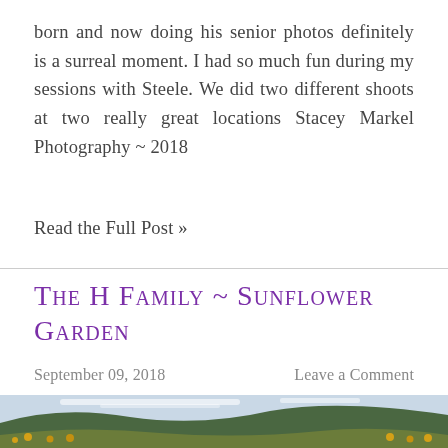born and now doing his senior photos definitely is a surreal moment. I had so much fun during my sessions with Steele. We did two different shoots at two really great locations Stacey Markel Photography ~ 2018
Read the Full Post »
The H Family ~ Sunflower Garden
September 09, 2018
Leave a Comment
[Figure (photo): A couple standing in a sunflower garden with rolling green forested hills and a pale blue sky in the background. The woman has dark hair and the man is wearing a blue shirt.]